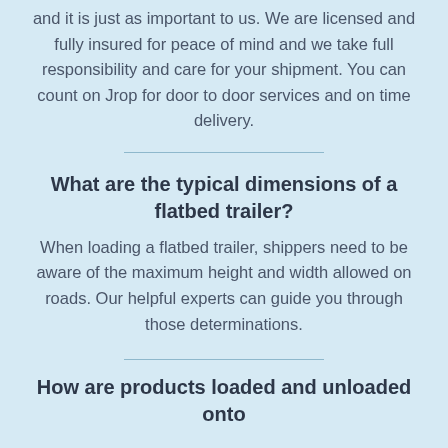and it is just as important to us. We are licensed and fully insured for peace of mind and we take full responsibility and care for your shipment. You can count on Jrop for door to door services and on time delivery.
What are the typical dimensions of a flatbed trailer?
When loading a flatbed trailer, shippers need to be aware of the maximum height and width allowed on roads. Our helpful experts can guide you through those determinations.
How are products loaded and unloaded onto